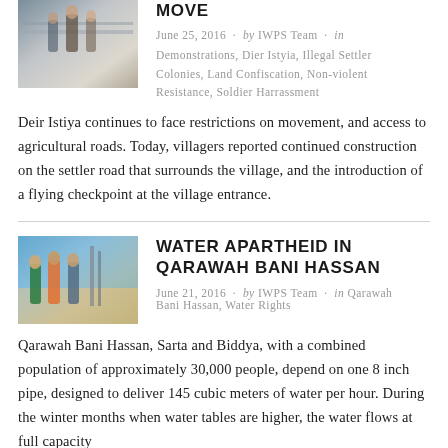[Figure (photo): People standing near a railing or structure outdoors]
MOVE
June 25, 2016 · by IWPS Team · in Demonstrations, Dier Istyia, Illegal Settler Colonies, Land Confiscation, Non-violent Resistance, Soldier Harrassment
Deir Istiya continues to face restrictions on movement, and access to agricultural roads. Today, villagers reported continued construction on the settler road that surrounds the village, and the introduction of a flying checkpoint at the village entrance.
[Figure (photo): Group of people standing outdoors with equipment]
WATER APARTHEID IN QARAWAH BANI HASSAN
June 21, 2016 · by IWPS Team · in Qarawah Bani Hassan, Water Rights
Qarawah Bani Hassan, Sarta and Biddya, with a combined population of approximately 30,000 people, depend on one 8 inch pipe, designed to deliver 145 cubic meters of water per hour. During the winter months when water tables are higher, the water flows at full capacity